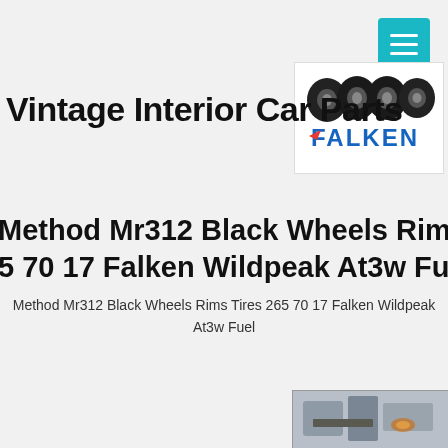[Figure (logo): Falken tires logo with four black tires above the FALKEN brand name in blue and red text]
Vintage Interior Car Parts
Method Mr312 Black Wheels Rims Tires 265 70 17 Falken Wildpeak At3w Fuel - $1995.0
Method Mr312 Black Wheels Rims Tires 265 70 17 Falken Wildpeak At3w Fuel
[Figure (photo): Partial photo of what appears to be a car part or accessory, showing metallic/silver components]